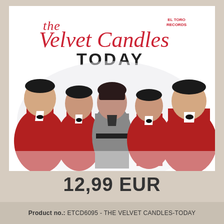[Figure (illustration): Album cover for 'The Velvet Candles – Today'. Shows an illustrated/painted image of five people: four men in red jackets with bow ties and one woman in a grey dress in the center. Text on the cover reads 'the Velvet Candles TODAY' with 'El Toro Records' logo in the top right corner.]
12,99 EUR
Product no.: ETCD6095 - THE VELVET CANDLES-TODAY